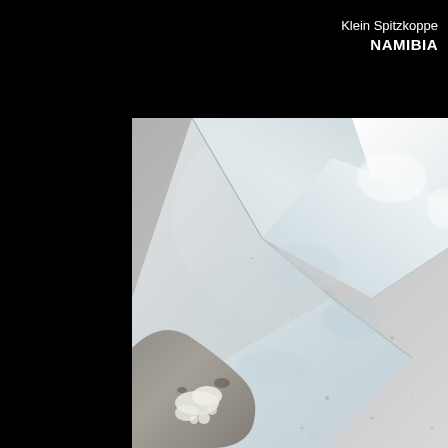Klein Spitzkoppe
NAMIBIA
[Figure (photo): Close-up macro photograph of a large transparent/clear quartz crystal with multiple facets, showing glassy crystalline surfaces with some inclusions and matrix material at the base. The crystal appears to be fluorite or topaz from Klein Spitzkoppe, Namibia. Background is neutral gray.]